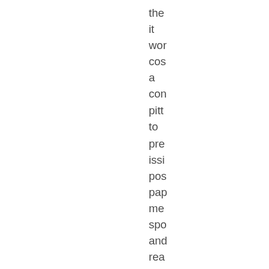the it wor cos a con pitt to pre issi pos pap me spo and rea det wit con ans (no sta up